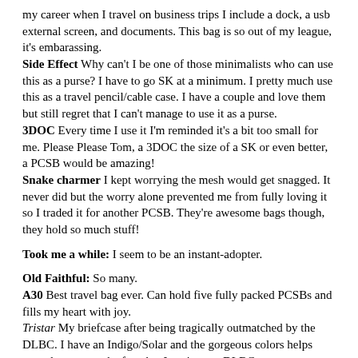my career when I travel on business trips I include a dock, a usb external screen, and documents. This bag is so out of my league, it's embarassing.
Side Effect Why can't I be one of those minimalists who can use this as a purse? I have to go SK at a minimum. I pretty much use this as a travel pencil/cable case. I have a couple and love them but still regret that I can't manage to use it as a purse.
3DOC Every time I use it I'm reminded it's a bit too small for me. Please Please Tom, a 3DOC the size of a SK or even better, a PCSB would be amazing!
Snake charmer I kept worrying the mesh would get snagged. It never did but the worry alone prevented me from fully loving it so I traded it for another PCSB. They're awesome bags though, they hold so much stuff!
Took me a while: I seem to be an instant-adopter.
Old Faithful: So many.
A30 Best travel bag ever. Can hold five fully packed PCSBs and fills my heart with joy.
Tristar My briefcase after being tragically outmatched by the DLBC. I have an Indigo/Solar and the gorgeous colors helps console me over the fact that I can't use a DLBC.
PCSBs I have like 10, I wish I'd been an early adopter, instead I discovered them after solar/zest had been discontinued forever preventing me from having ALL THE COLORS. Rumor has it they're getting a ballistic